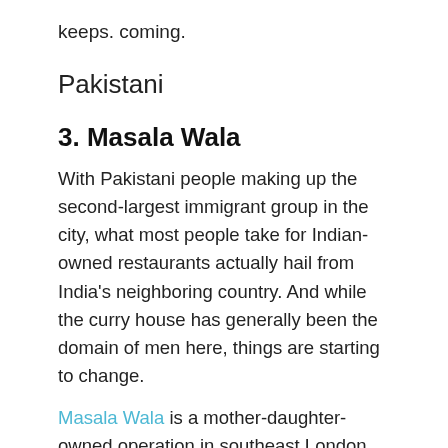keeps. coming.
Pakistani
3. Masala Wala
With Pakistani people making up the second-largest immigrant group in the city, what most people take for Indian-owned restaurants actually hail from India's neighboring country. And while the curry house has generally been the domain of men here, things are starting to change.
Masala Wala is a mother-daughter-owned operation in southeast London that delights the local community with proper hospitality and a fantastic line of refined Pakistani dishes such as